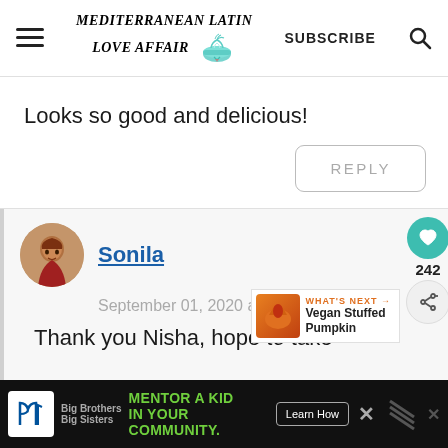MEDITERRANEAN LATIN LOVE AFFAIR | SUBSCRIBE
Looks so good and delicious!
REPLY
Sonila
September 01, 2020 at 4
242
WHAT'S NEXT → Vegan Stuffed Pumpkin
Thank you Nisha, hope to take
MENTOR A KID IN YOUR COMMUNITY. Learn How